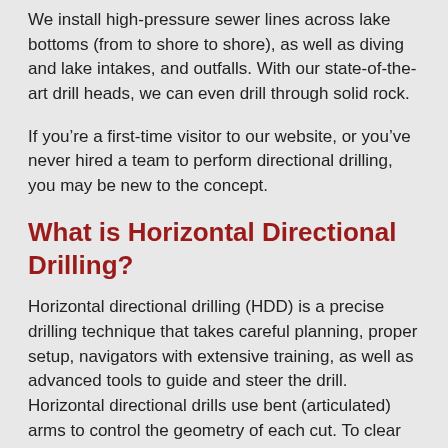We install high-pressure sewer lines across lake bottoms (from to shore to shore), as well as diving and lake intakes, and outfalls. With our state-of-the-art drill heads, we can even drill through solid rock.
If you're a first-time visitor to our website, or you've never hired a team to perform directional drilling, you may be new to the concept.
What is Horizontal Directional Drilling?
Horizontal directional drilling (HDD) is a precise drilling technique that takes careful planning, proper setup, navigators with extensive training, as well as advanced tools to guide and steer the drill. Horizontal directional drills use bent (articulated) arms to control the geometry of each cut. To clear its path, the drill bit may be fitted with a high-pressure hydraulic nozzle to